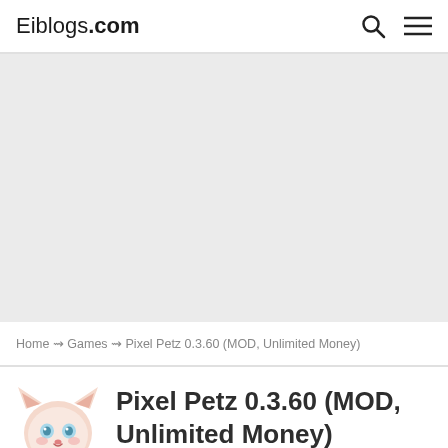Eiblogs.com
[Figure (other): Advertisement banner placeholder, light gray background]
Home ⇝ Games ⇝ Pixel Petz 0.3.60 (MOD, Unlimited Money)
[Figure (illustration): Pixel art cat/fox pet icon with blue eyes and pink/white coloring]
Pixel Petz 0.3.60 (MOD, Unlimited Money)